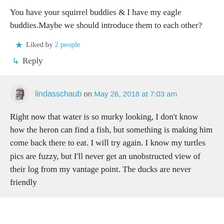You have your squirrel buddies & I have my eagle buddies.Maybe we should introduce them to each other?
★ Liked by 2 people
↳ Reply
lindasschaub on May 26, 2018 at 7:03 am
Right now that water is so murky looking, I don't know how the heron can find a fish, but something is making him come back there to eat. I will try again. I know my turtles pics are fuzzy, but I'll never get an unobstructed view of their log from my vantage point. The ducks are never friendly at this Park, as the ... are more ...